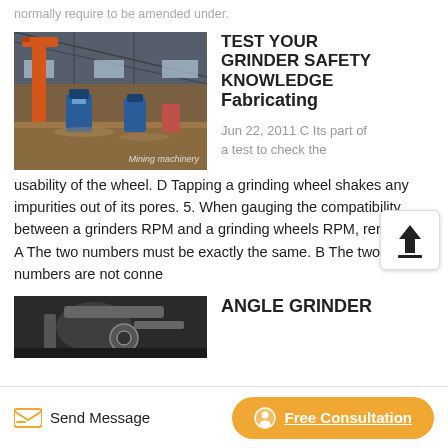normally require to be amended under.
[Figure (photo): Industrial mining machinery inside a large warehouse/factory, orange/red crane arm visible, blue industrial equipment in background, dirt floor. Watermark: 'Mining machinery']
TEST YOUR GRINDER SAFETY KNOWLEDGE Fabricating
Jun 22, 2011 C Its part of a test to check the usability of the wheel. D Tapping a grinding wheel shakes any impurities out of its pores. 5. When gauging the compatibility between a grinders RPM and a grinding wheels RPM, remember A The two numbers must be exactly the same. B The two numbers are not conne…
[Figure (photo): Industrial angle grinder equipment, dark/grey tones]
ANGLE GRINDER
Send Message
Free Consultation